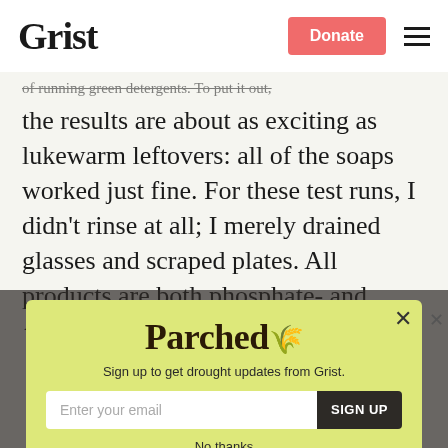Grist
of running green detergents. To put it out, the results are about as exciting as lukewarm leftovers: all of the soaps worked just fine. For these test runs, I didn't rinse at all; I merely drained glasses and scraped plates. All products are both phosphate- and chlorine-free.
[Figure (screenshot): Modal popup with yellow-green background featuring 'Parched' logo, email signup form, and 'No thanks' link]
Parched
Sign up to get drought updates from Grist.
No thanks